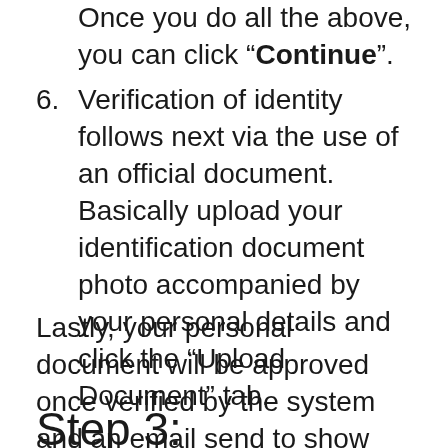Once you do all the above, you can click "Continue".
6. Verification of identity follows next via the use of an official document. Basically upload your identification document photo accompanied by your personal details and click the “Upload Document” tab.
Lastly, your personal document will be approved once verified by the system and an email send to show the confirmation of order purchase. Subsequently, your Binance account is credited with the purchased BTC or Ethereum.
Step 3: Transferring Your Cryptos to an Altcoin